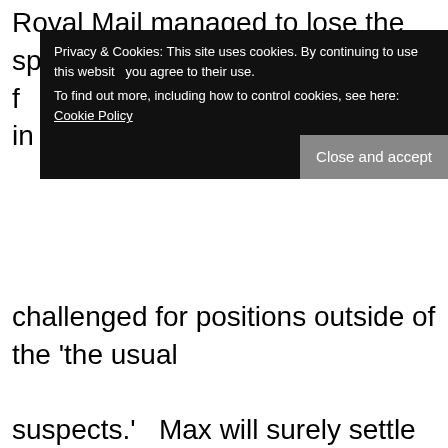Royal Mail managed to lose the sponsor cheques f…
Privacy & Cookies: This site uses cookies. By continuing to use this website you agree to their use. To find out more, including how to control cookies, see here: Cookie Policy
challenged for positions outside of the 'the usual suspects.'   Max will surely settle in over time, but will do well to beat Jules.  However, with AON backing him, to somewhere to the tune of $15 million his seat is safe, even if it does make him very much a 'pay' driver.